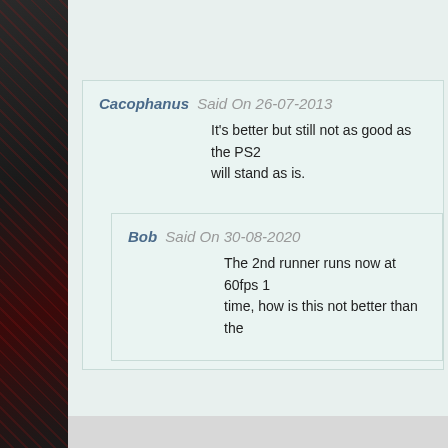Cacophanus Said On 26-07-2013
It’s better but still not as good as the PS2 will stand as is.
Bob Said On 30-08-2020
The 2nd runner runs now at 60fps 1 time, how is this not better than the